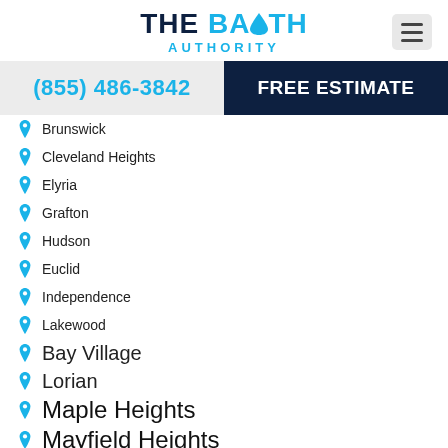[Figure (logo): The Bath Authority logo with water drop icon and blue/navy text]
(855) 486-3842
FREE ESTIMATE
Brunswick
Cleveland Heights
Elyria
Grafton
Hudson
Euclid
Independence
Lakewood
Bay Village
Lorian
Maple Heights
Mayfield Heights
Mentor
Middleburg Heights
North Olmsted